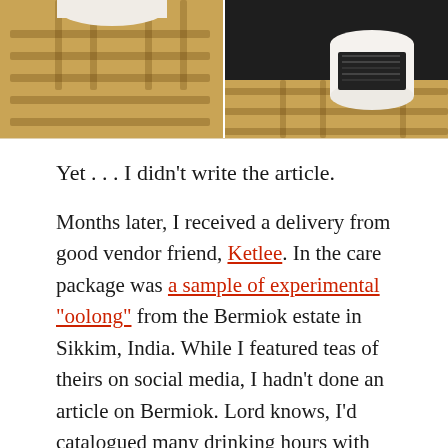[Figure (photo): Two-panel photo of a bamboo tea tray with white tea cups and tea leaves. Left panel shows a white cup on a slatted bamboo tray; right panel shows a white cup filled with dark tea leaves on a dark surface with bamboo tray.]
Yet . . . I didn’t write the article.
Months later, I received a delivery from good vendor friend, Ketlee. In the care package was a sample of experimental “oolong” from the Bermiok estate in Sikkim, India. While I featured teas of theirs on social media, I hadn’t done an article on Bermiok. Lord knows, I’d catalogued many drinking hours with their teas, but had yet to feature the garden itself. Also in my wheehouse!